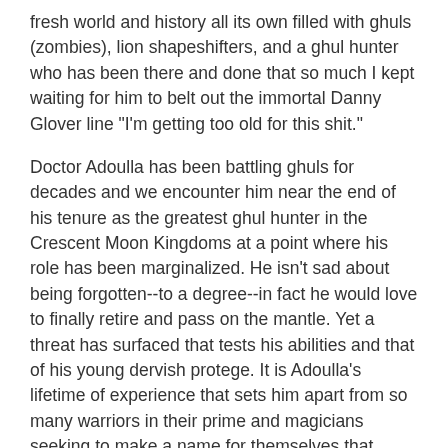fresh world and history all its own filled with ghuls (zombies), lion shapeshifters, and a ghul hunter who has been there and done that so much I kept waiting for him to belt out the immortal Danny Glover line "I'm getting too old for this shit."
Doctor Adoulla has been battling ghuls for decades and we encounter him near the end of his tenure as the greatest ghul hunter in the Crescent Moon Kingdoms at a point where his role has been marginalized. He isn't sad about being forgotten--to a degree--in fact he would love to finally retire and pass on the mantle. Yet a threat has surfaced that tests his abilities and that of his young dervish protege. It is Adoulla's lifetime of experience that sets him apart from so many warriors in their prime and magicians seeking to make a name for themselves that seem to proliferate Fantasy. He's the uncle with all the best stories.
Striking the right balance with the pacing and fun action of a Sword & Sorcery story while still bringing in the coarse and realistic tone found in modern Fantasy, Throne of the Crescent Moon is superbly executed. Everything has consequence in the story. The Doctor and his cohorts don't